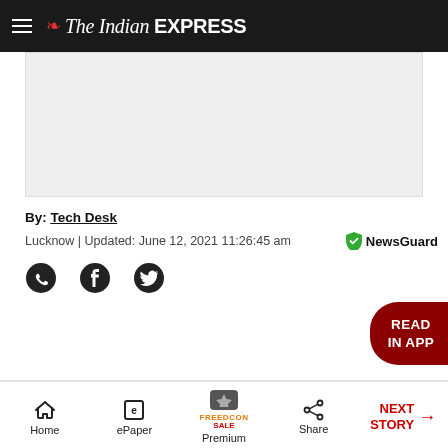The Indian EXPRESS
[Figure (other): Advertisement placeholder box (light gray)]
By: Tech Desk
Lucknow | Updated: June 12, 2021 11:26:45 am
[Figure (logo): NewsGuard badge logo]
[Figure (infographic): Social sharing icons: WhatsApp, Facebook, Twitter]
[Figure (other): READ IN APP button (dark red, bottom right)]
Home | ePaper | Premium | Share | NEXT STORY